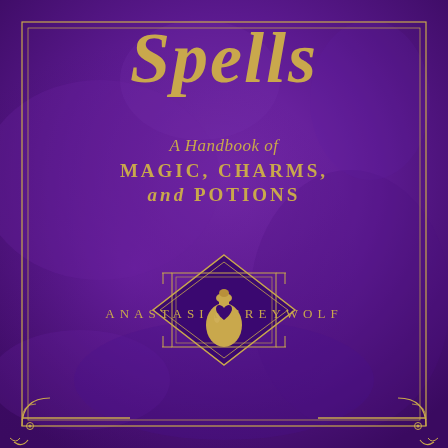[Figure (illustration): Book cover with deep purple textured background, gold decorative border frame with ornate corner flourishes at bottom corners, a diamond-shaped geometric medallion in the center containing a gold potion bottle with a heart motif on a dark background.]
Spells
A Handbook of MAGIC, CHARMS, and POTIONS
ANASTASIA GREYWOLF